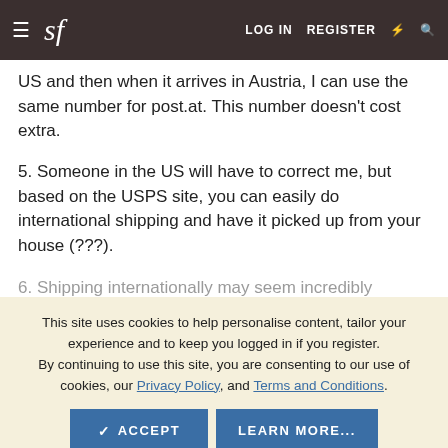sf  LOG IN  REGISTER
US and then when it arrives in Austria, I can use the same number for post.at. This number doesn't cost extra.
5. Someone in the US will have to correct me, but based on the USPS site, you can easily do international shipping and have it picked up from your house (???).
6. Shipping internationally may seem incredibly expensive to
This site uses cookies to help personalise content, tailor your experience and to keep you logged in if you register.
By continuing to use this site, you are consenting to our use of cookies, our Privacy Policy, and Terms and Conditions.
price compared to shopping in our home countries. It's not quite the deal now that the € has gone down.
7. Don't gouge your international buyers. I make repeated buys from American sellers that are willing to ship here and don't raise their prices when they see it's going somewhere